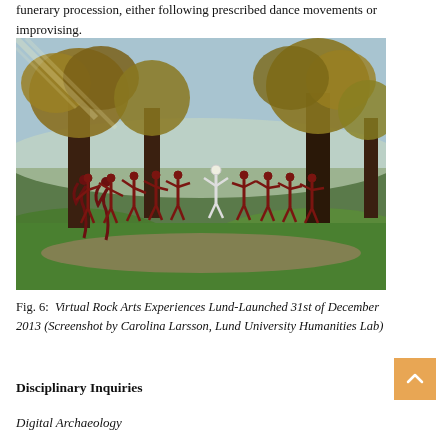funerary procession, either following prescribed dance movements or improvising.
[Figure (screenshot): 3D virtual environment screenshot showing stylized dark red human figures in dancing poses arranged along a path, with large trees and green landscape in background, and one white figure among them. Virtual Rock Arts Experiences scene.]
Fig. 6: Virtual Rock Arts Experiences Lund-Launched 31st of December 2013 (Screenshot by Carolina Larsson, Lund University Humanities Lab)
Disciplinary Inquiries
Digital Archaeology